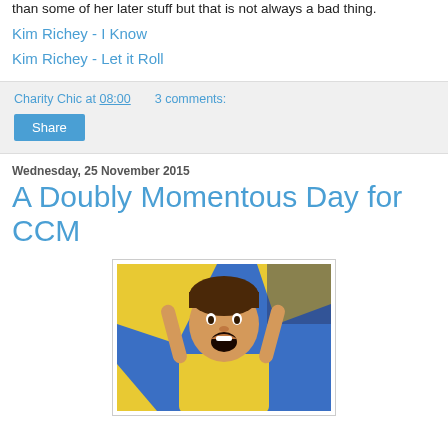than some of her later stuff but that is not always a bad thing.
Kim Richey - I Know
Kim Richey - Let it Roll
Charity Chic at 08:00   3 comments:
Share
Wednesday, 25 November 2015
A Doubly Momentous Day for CCM
[Figure (photo): A young boy in a yellow shirt with arms raised, mouth open in excitement, with blue and yellow fabric/flags in the background.]